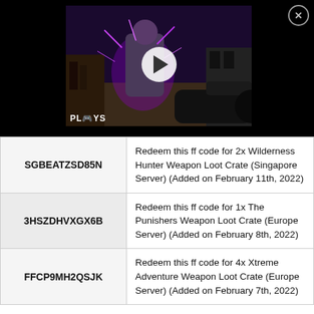[Figure (screenshot): Video thumbnail of a gaming scene with a character surrounded by purple energy, with a play button overlay and 'PLAYS' branding at the bottom, on a black background with a close (X) button in the top right.]
| SGBEATZSD85N | Redeem this ff code for 2x Wilderness Hunter Weapon Loot Crate (Singapore Server) (Added on February 11th, 2022) |
| 3HSZDHVXGX6B | Redeem this ff code for 1x The Punishers Weapon Loot Crate (Europe Server) (Added on February 8th, 2022) |
| FFCP9MH2QSJK | Redeem this ff code for 4x Xtreme Adventure Weapon Loot Crate (Europe Server) (Added on February 7th, 2022) |